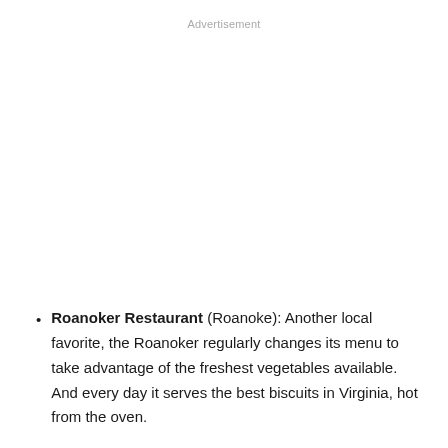Advertisement
Roanoker Restaurant (Roanoke): Another local favorite, the Roanoker regularly changes its menu to take advantage of the freshest vegetables available. And every day it serves the best biscuits in Virginia, hot from the oven.